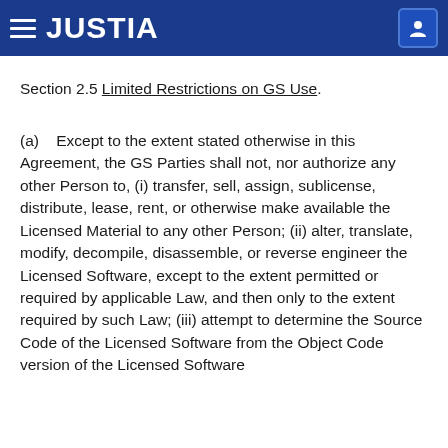JUSTIA
Section 2.5 Limited Restrictions on GS Use.
(a)    Except to the extent stated otherwise in this Agreement, the GS Parties shall not, nor authorize any other Person to, (i) transfer, sell, assign, sublicense, distribute, lease, rent, or otherwise make available the Licensed Material to any other Person; (ii) alter, translate, modify, decompile, disassemble, or reverse engineer the Licensed Software, except to the extent permitted or required by applicable Law, and then only to the extent required by such Law; (iii) attempt to determine the Source Code of the Licensed Software from the Object Code version of the Licensed Software